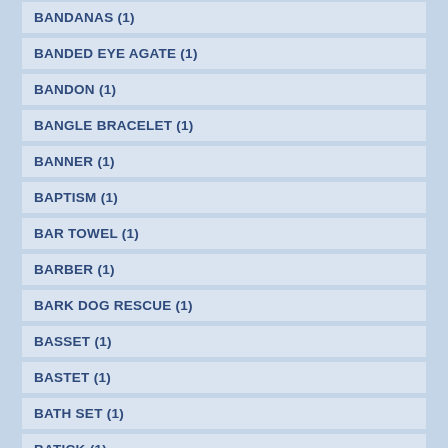BANDANAS (1)
BANDED EYE AGATE (1)
BANDON (1)
BANGLE BRACELET (1)
BANNER (1)
BAPTISM (1)
BAR TOWEL (1)
BARBER (1)
BARK DOG RESCUE (1)
BASSET (1)
BASTET (1)
BATH SET (1)
BATICK (1)
BAZAAR (1)
BE YOURSELF (1)
BEACH BAG (1)
BEACH LOVER (1)